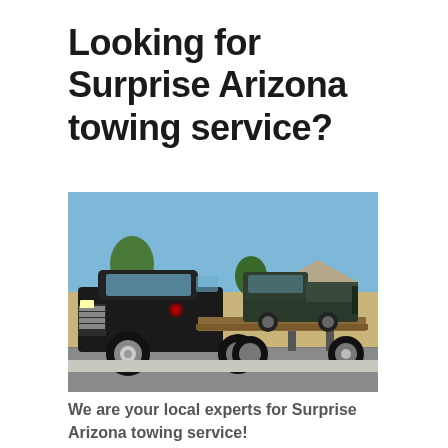Looking for Surprise Arizona towing service?
[Figure (photo): A black flatbed tow truck carrying an older dark pickup truck, parked in a suburban Arizona neighborhood with desert landscaping and a clear blue sky in the background.]
We are your local experts for Surprise Arizona towing service!